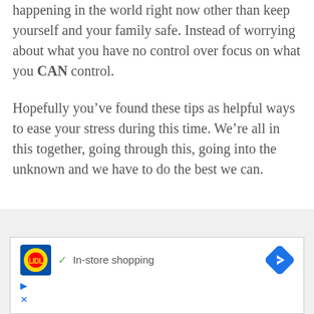happening in the world right now other than keep yourself and your family safe. Instead of worrying about what you have no control over focus on what you CAN control.
Hopefully you've found these tips as helpful ways to ease your stress during this time. We're all in this together, going through this, going into the unknown and we have to do the best we can.
[Figure (other): Lidl advertisement banner showing Lidl logo, a green checkmark with 'In-store shopping' text, and a blue diamond navigation arrow icon, with ad controls (play and close buttons) below.]